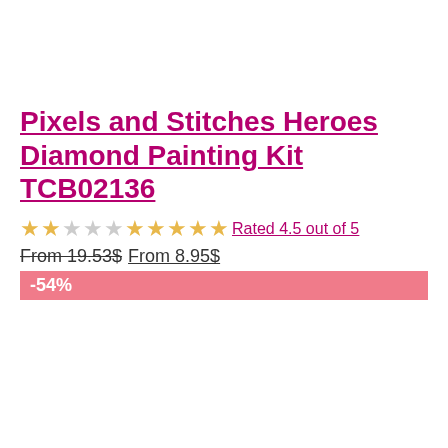Pixels and Stitches Heroes Diamond Painting Kit TCB02136
★★☆☆☆★★★★★ Rated 4.5 out of 5
From 19.53$ From 8.95$
-54%